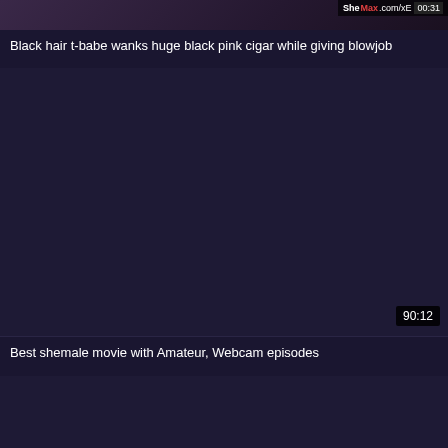[Figure (screenshot): Video thumbnail partially visible at top of page, dark with some imagery visible]
Black hair t-babe wanks huge black pink cigar while giving blowjob
[Figure (screenshot): Dark navy/purple video thumbnail with duration badge showing 90:12 in bottom right corner]
Best shemale movie with Amateur, Webcam episodes
[Figure (screenshot): Third dark navy/purple video thumbnail area, mostly empty/dark]